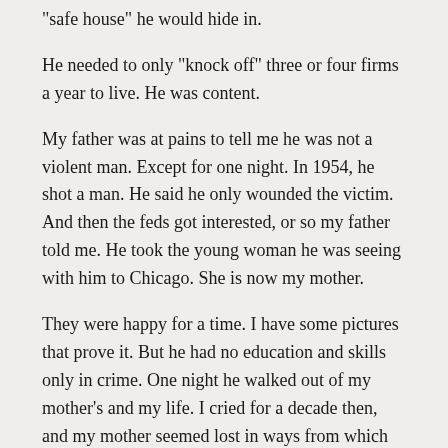"safe house" he would hide in.
He needed to only "knock off" three or four firms a year to live. He was content.
My father was at pains to tell me he was not a violent man. Except for one night. In 1954, he shot a man. He said he only wounded the victim. And then the feds got interested, or so my father told me. He took the young woman he was seeing with him to Chicago. She is now my mother.
They were happy for a time. I have some pictures that prove it. But he had no education and skills only in crime. One night he walked out of my mother's and my life. I cried for a decade then, and my mother seemed lost in ways from which she never really recovered.
I told myself he died for decades. He must have died. Half-hearted efforts to find him always failed. Then one